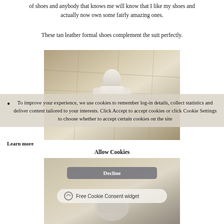of shoes and anybody that knows me will know that I like my shoes and actually now own some fairly amazing ones.
These tan leather formal shoes complement the suit perfectly.
[Figure (photo): A man in a white/light suit photographed from above on stone steps or pavement.]
To improve your experience, we use cookies to remember log-in details, collect statistics and deliver content tailored to your interests. Click Accept to accept cookies or click Cookie Settings to choose whether to accept certain cookies on the site
Learn more
Allow Cookies
[Figure (screenshot): A screenshot showing a Decline button and a Free Cookie Consent widget over a photo of a man in a suit.]